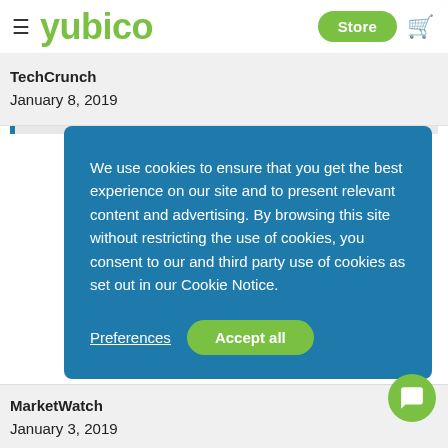yubico  Store
TechCrunch
January 8, 2019
We use cookies to ensure that you get the best experience on our site and to present relevant content and advertising. By browsing this site without restricting the use of cookies, you consent to our and third party use of cookies as set out in our Cookie Notice.
Preferences   Accept all
MarketWatch
January 3, 2019